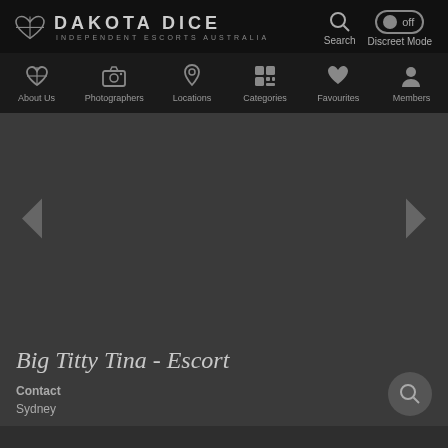DAKOTA DICE — INDEPENDENT ESCORTS AUSTRALIA
[Figure (screenshot): Website navigation bar with icons: About Us, Photographers, Locations, Categories, Favourites, Members]
[Figure (photo): Dark grey image area with left and right navigation arrows for a photo carousel]
Big Titty Tina - Escort
Contact
Sydney